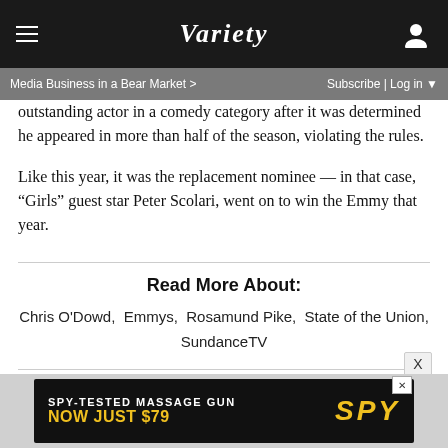VARIETY
Media Business in a Bear Market >   Subscribe | Log in
outstanding actor in a comedy category after it was determined he appeared in more than half of the season, violating the rules.
Like this year, it was the replacement nominee — in that case, “Girls” guest star Peter Scolari, went on to win the Emmy that year.
Read More About:
Chris O'Dowd,  Emmys,  Rosamund Pike,  State of the Union,  SundanceTV
[Figure (other): Advertisement banner: SPY-TESTED MASSAGE GUN NOW JUST $79 with SPY logo]